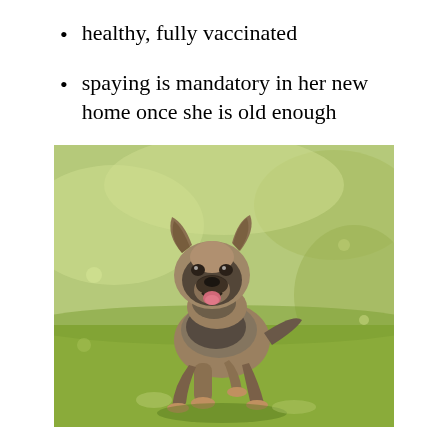healthy, fully vaccinated
spaying is mandatory in her new home once she is old enough
[Figure (photo): A German Shepherd puppy running on grass, mouth open, ears slightly floppy, looking at camera]